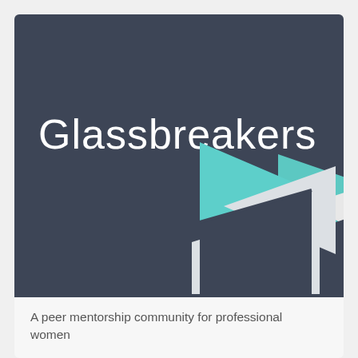[Figure (logo): Glassbreakers logo: dark slate-blue square background with the word 'Glassbreakers' in large white light-weight font. Below the text, a geometric logo mark consisting of a teal/turquoise right-pointing triangle (upper) and two white/light grey right-pointing triangles (lower right), arranged to form a stylized 'G' or arrow motif.]
A peer mentorship community for professional women